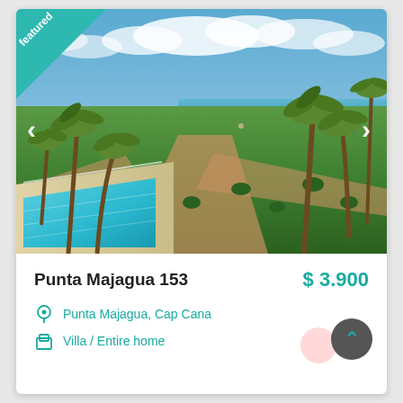[Figure (photo): Aerial view of a luxury villa resort with a pool, green lawns, palm trees, sandy paths, and ocean in the background under a partly cloudy blue sky. A teal 'featured' badge is in the top-left corner with left and right navigation arrows on the sides.]
Punta Majagua 153
$ 3.900
Punta Majagua, Cap Cana
Villa / Entire home